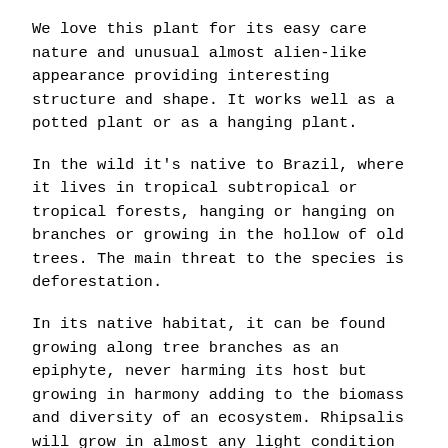We love this plant for its easy care nature and unusual almost alien-like appearance providing interesting structure and shape. It works well as a potted plant or as a hanging plant.
In the wild it's native to Brazil, where it lives in tropical subtropical or tropical forests, hanging or hanging on branches or growing in the hollow of old trees. The main threat to the species is deforestation.
In its native habitat, it can be found growing along tree branches as an epiphyte, never harming its host but growing in harmony adding to the biomass and diversity of an ecosystem. Rhipsalis will grow in almost any light condition making it ideal as a houseplant and its travel around the world being cultivated into many forms as a houseplant. It will, however, grow best in bright indirect light.
Rhipsalis make a great houseplant gift for friends or family - surprise them with rainforest style! If you are giving Rhipsalis as a gift, please note that the recipient must not be the best...